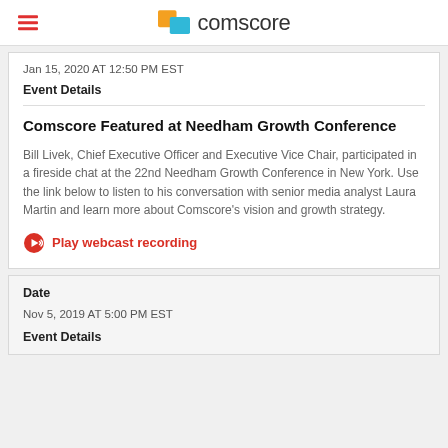comscore
Jan 15, 2020 AT 12:50 PM EST
Event Details
Comscore Featured at Needham Growth Conference
Bill Livek, Chief Executive Officer and Executive Vice Chair, participated in a fireside chat at the 22nd Needham Growth Conference in New York. Use the link below to listen to his conversation with senior media analyst Laura Martin and learn more about Comscore's vision and growth strategy.
Play webcast recording
Date
Nov 5, 2019 AT 5:00 PM EST
Event Details